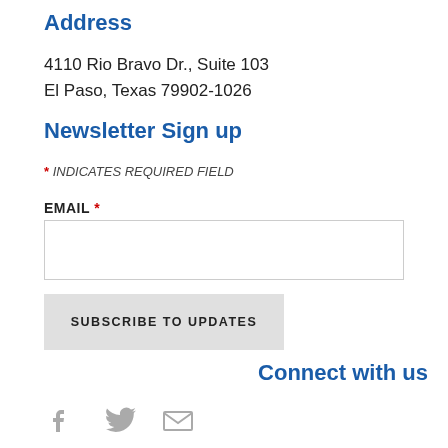Address
4110 Rio Bravo Dr., Suite 103
El Paso, Texas 79902-1026
Newsletter Sign up
* INDICATES REQUIRED FIELD
EMAIL *
Connect with us
[Figure (other): Social media icons: Facebook, Twitter, Email]